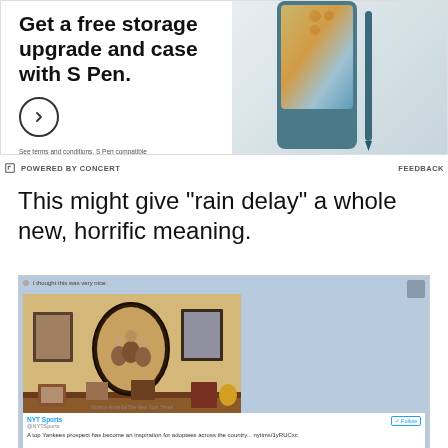[Figure (photo): Samsung Galaxy Z Fold4 advertisement showing the phone with S Pen and case. Text reads: 'Get a free storage upgrade and case with S Pen.' with a circle arrow button and disclaimer about terms and conditions.]
POWERED BY CONCERT
FEEDBACK
This might give "rain delay" a whole new, horrific meaning.
[Figure (screenshot): Embedded tweet from NYT Sports showing a family photo wall with framed portraits and photos on a couch/shelf. Tweet text: 'A top Yankees prospect has become an inspiration for adoptees across the country...' with a Follow button.]